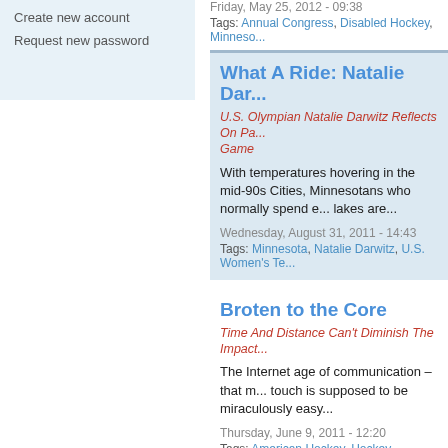Create new account
Request new password
Friday, May 25, 2012 - 09:38
Tags: Annual Congress, Disabled Hockey, Minnesota
What A Ride: Natalie Dar...
U.S. Olympian Natalie Darwitz Reflects On Pa... Game
With temperatures hovering in the mid-90s Cities, Minnesotans who normally spend e... lakes are...
Wednesday, August 31, 2011 - 14:43
Tags: Minnesota, Natalie Darwitz, U.S. Women's Te...
Broten to the Core
Time And Distance Can't Diminish The Impact...
The Internet age of communication – that m... touch is supposed to be miraculously easy...
Thursday, June 9, 2011 - 12:20
Tags: American Hockey, Hockey Brothers, Minn., M...
Putting Mo Back In Moto...
Michigan Native Mike Modano Proves You Ca...
When Mike Modano pulled a No. 90 Red W... conference at Joe Louis Arena in Detroit, H...